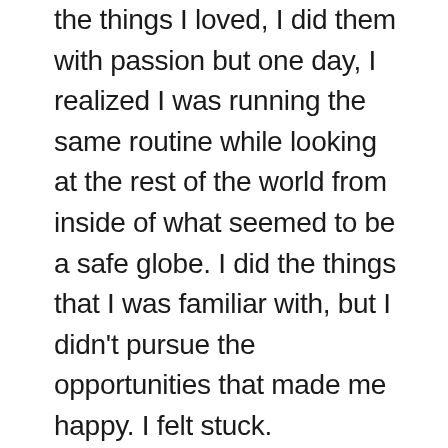the things I loved, I did them with passion but one day, I realized I was running the same routine while looking at the rest of the world from inside of what seemed to be a safe globe. I did the things that I was familiar with, but I didn't pursue the opportunities that made me happy. I felt stuck.

There came a point when I decided to step outside of my comfort zone so that I could learn more about myself. When I realized there were many things I loved to do and learn about, I allowed those things to be a part of my life. Ultimately, I was happier as I discovered there was more to me than I expressed. I had ambitions,